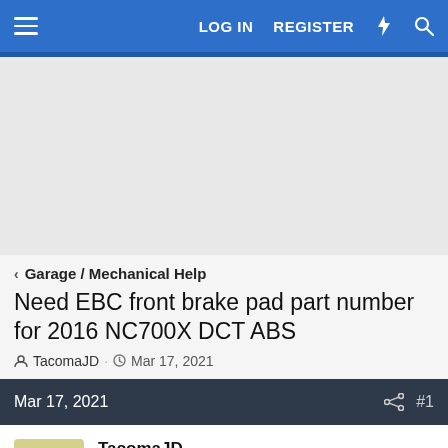LOG IN  REGISTER
[Figure (other): Advertisement placeholder area (gray box)]
< Garage / Mechanical Help
Need EBC front brake pad part number for 2016 NC700X DCT ABS
TacomaJD · Mar 17, 2021
Mar 17, 2021  #1
TacomaJD
Well-Known Member